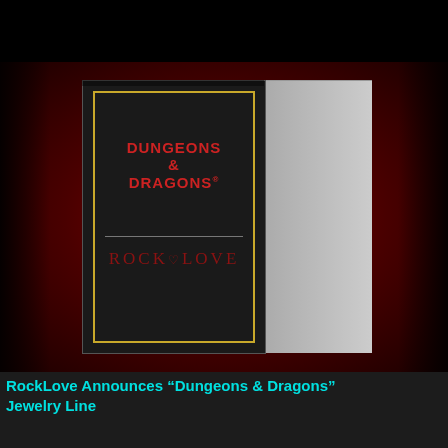[Figure (photo): A black collector's box with gold border trim featuring the Dungeons & Dragons logo in red and the RockLove logo in dark red, set against a deep red background]
RockLove Announces “Dungeons & Dragons” Jewelry Line